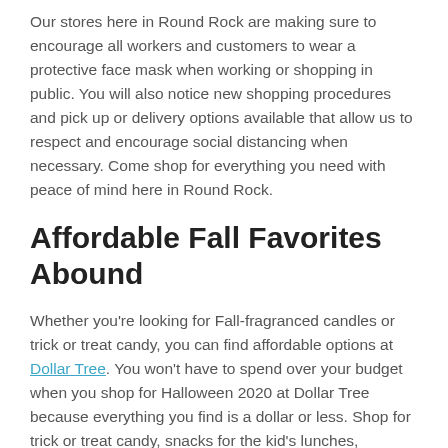Our stores here in Round Rock are making sure to encourage all workers and customers to wear a protective face mask when working or shopping in public. You will also notice new shopping procedures and pick up or delivery options available that allow us to respect and encourage social distancing when necessary. Come shop for everything you need with peace of mind here in Round Rock.
Affordable Fall Favorites Abound
Whether you're looking for Fall-fragranced candles or trick or treat candy, you can find affordable options at Dollar Tree. You won't have to spend over your budget when you shop for Halloween 2020 at Dollar Tree because everything you find is a dollar or less. Shop for trick or treat candy, snacks for the kid's lunches, seasonal decorations, cleaning supplies, and so much more.